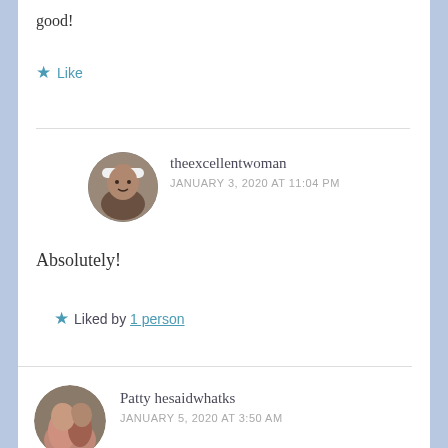good!
★ Like
theexcellentwoman
JANUARY 3, 2020 AT 11:04 PM
Absolutely!
★ Liked by 1 person
Patty hesaidwhatks
JANUARY 5, 2020 AT 3:50 AM